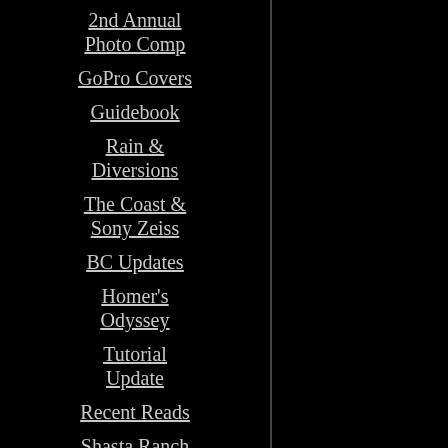2nd Annual Photo Comp
GoPro Covers
Guidebook
Rain & Diversions
The Coast & Sony Zeiss
BC Updates
Homer's Odyssey
Tutorial Update
Recent Reads
Shasta Ranch